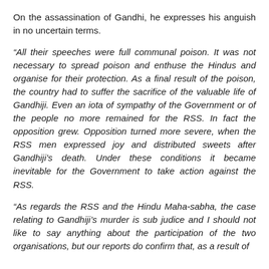On the assassination of Gandhi, he expresses his anguish in no uncertain terms.
“All their speeches were full communal poison. It was not necessary to spread poison and enthuse the Hindus and organise for their protection. As a final result of the poison, the country had to suffer the sacrifice of the valuable life of Gandhiji. Even an iota of sympathy of the Government or of the people no more remained for the RSS. In fact the opposition grew. Opposition turned more severe, when the RSS men expressed joy and distributed sweets after Gandhiji’s death. Under these conditions it became inevitable for the Government to take action against the RSS.
“As regards the RSS and the Hindu Maha-sabha, the case relating to Gandhiji’s murder is sub judice and I should not like to say anything about the participation of the two organisations, but our reports do confirm that, as a result of